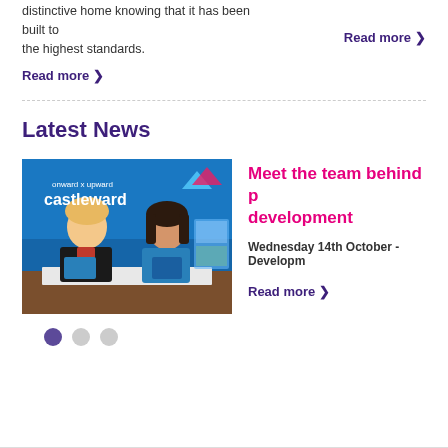distinctive home knowing that it has been built to the highest standards.
Read more >
Read more >
Latest News
[Figure (photo): Two women standing in front of a blue 'onward x upward castleward' banner, holding blue folders/brochures over a table with documents.]
Meet the team behind p... development
Wednesday 14th October - Developm...
Read more >